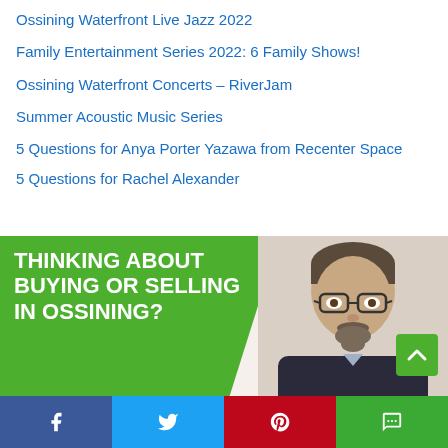Ossining Waterfront Live Jazz 2022
Family Entertainment Series 2022: 6 Family Shows!
Ossining Waterfront Concerts – RiverJam
Summer Acoustic Music Series
5 Questions for Anya Porter Yazawa from Recenter Space
5 Questions for Rachel Alexander
[Figure (infographic): Advertisement banner with green background on left side showing text 'THINKING ABOUT BUYING OR SELLING IN OSSINING?' in white bold uppercase letters, and a photo of a man with glasses and beard on the right side against a beige background. A green scroll-up button is visible in the bottom right corner of the banner.]
[Figure (infographic): Social media share bar at the bottom with four buttons: Facebook (dark blue with f icon), Twitter (light blue with bird icon), Pinterest (red with P icon), SMS (green with speech bubble icon).]